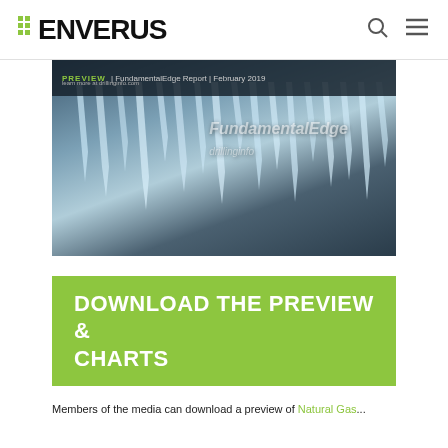ENVERUS
[Figure (screenshot): Preview image of FundamentalEdge Report February 2019 cover page showing icicles on a building with the text 'PREVIEW | FundamentalEdge Report | February 2019' and 'learn more at drillinginfo.com' overlaid on a dark banner at the top.]
DOWNLOAD THE PREVIEW & CHARTS
Members of the media can download a preview of Natural Gas...